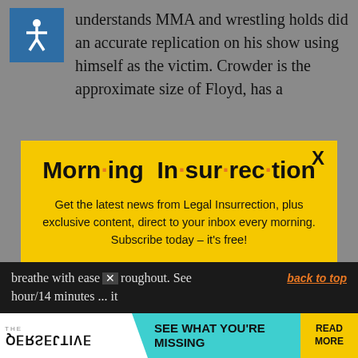understands MMA and wrestling holds did an accurate replication on his show using himself as the victim. Crowder is the approximate size of Floyd, has a
[Figure (infographic): Yellow modal popup for Morning Insurrection newsletter signup. Contains title 'Morn·ing In·sur·rec·tion' in bold with orange dots, subtitle text 'Get the latest news from Legal Insurrection, plus exclusive content, direct to your inbox every morning. Subscribe today – it's free!', and an orange JOIN NOW button with envelope icon. X close button in top right.]
breathe with ease throughout. See hour/14 minutes ... it
[Figure (advertisement): Ad banner at bottom: white section with PERSPECTIVE logo (mirrored), teal section with 'SEE WHAT YOU'RE MISSING', yellow button with 'READ MORE']